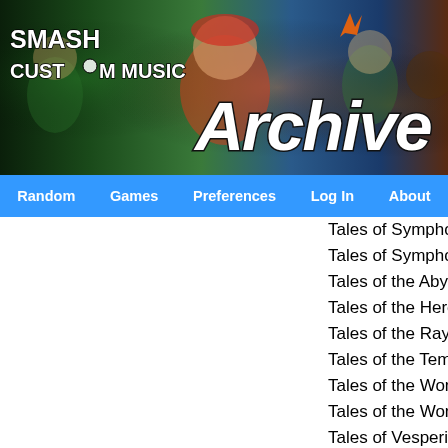[Figure (screenshot): Smash Custom Music website header banner with game characters (Mario, Link, etc.) and site logo. Text 'SMASH CUSTOM MUSIC' on left and 'Archive' on right in large italic font.]
Random | Games | Preferences | Log In | About
Tales of Symphonia
Tales of Symphonia: Dawn of the New World
Tales of the Abyss
Tales of the Heroes: Twin Brave
Tales of the Rays
Tales of the Tempest
Tales of the World: Radiant Mythology 2
Tales of the World: Radiant Mythology 3
Tales of Vesperia
Tales of VS
Tales of Xillia
Tales of Xillia 2
Tales of Zestiria
Tap My Katamari
Tatsunoko vs. Capcom: Cross Generation of
Tatsunoko vs. Capcom: Ultimate All-Stars